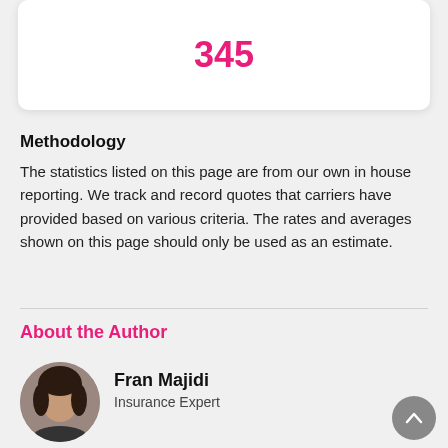345
Methodology
The statistics listed on this page are from our own in house reporting. We track and record quotes that carriers have provided based on various criteria. The rates and averages shown on this page should only be used as an estimate.
About the Author
[Figure (photo): Circular portrait photo of Fran Majidi]
Fran Majidi
Insurance Expert
Fran Majidi manages content on SmartFinancial's website. She's had nearly a decade's worth of experience writing about insurance-